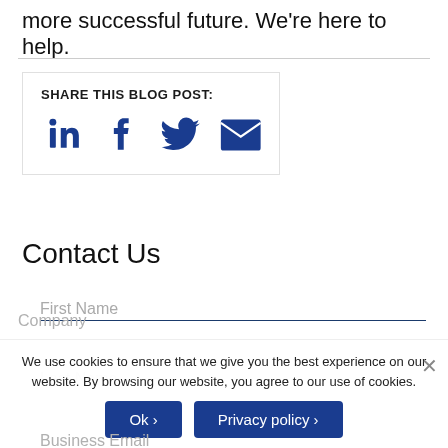more successful future. We're here to help.
SHARE THIS BLOG POST:
[Figure (other): Social share icons: LinkedIn, Facebook, Twitter, Email]
Contact Us
First Name
Last Name
We use cookies to ensure that we give you the best experience on our website. By browsing our website, you agree to our use of cookies.
Ok ›
Privacy policy ›